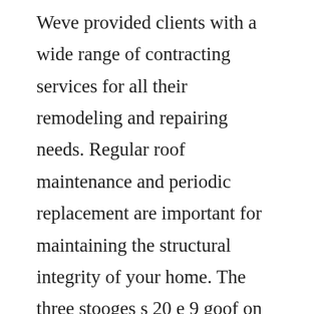Weve provided clients with a wide range of contracting services for all their remodeling and repairing needs. Regular roof maintenance and periodic replacement are important for maintaining the structural integrity of your home. The three stooges s 20 e 9 goof on the roof dailymotion. The purpose of this ebook is to empower you with the knowledge needed to solve your roof problem and choose the best course of action to keep your building in working order. Jul 12, 2016 people often ask when the best time to install a roof is.